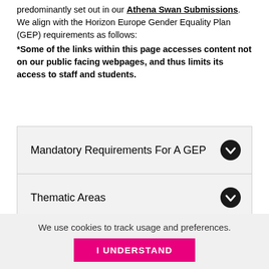predominantly set out in our Athena Swan Submissions. We align with the Horizon Europe Gender Equality Plan (GEP) requirements as follows:
*Some of the links within this page accesses content not on our public facing webpages, and thus limits its access to staff and students.
Mandatory Requirements For A GEP
Thematic Areas
Research And Innovation
Covid-19 Specific
We use cookies to track usage and preferences.
I UNDERSTAND